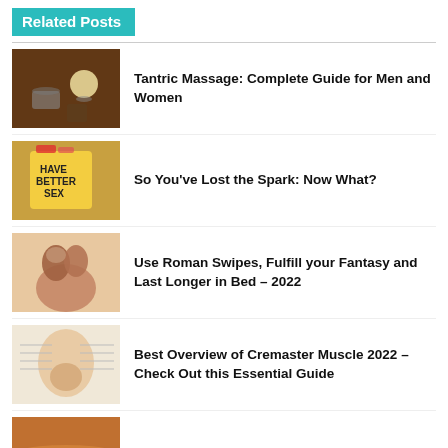Related Posts
Tantric Massage: Complete Guide for Men and Women
So You've Lost the Spark: Now What?
Use Roman Swipes, Fulfill your Fantasy and Last Longer in Bed – 2022
Best Overview of Cremaster Muscle 2022 – Check Out this Essential Guide
7 Tips for the Great American Road Trip